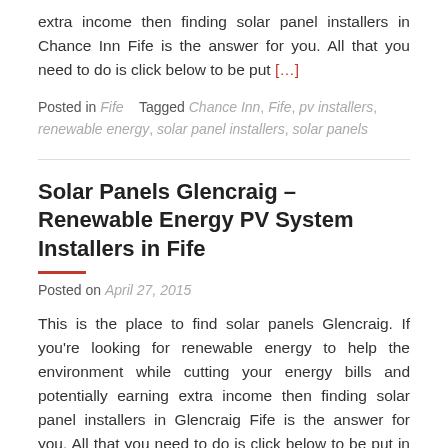extra income then finding solar panel installers in Chance Inn Fife is the answer for you. All that you need to do is click below to be put [...]
Posted in Fife    Tagged Chance Inn, Fife, pv installers, renewable energy, solar panel installers, solar panels
Solar Panels Glencraig – Renewable Energy PV System Installers in Fife
Posted on April 27, 2015
This is the place to find solar panels Glencraig. If you're looking for renewable energy to help the environment while cutting your energy bills and potentially earning extra income then finding solar panel installers in Glencraig Fife is the answer for you. All that you need to do is click below to be put in touch [...]
Posted in Fife    Tagged Fife, Glencraig, pv installers, renewable energy, solar panel installers, solar panels